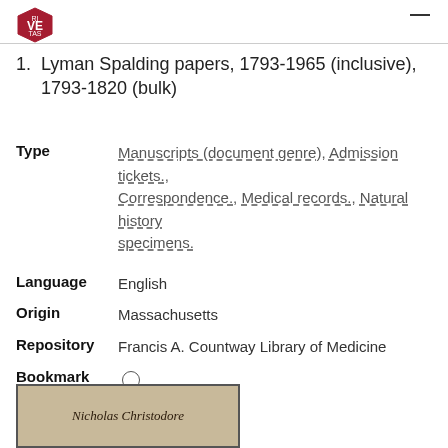Harvard shield logo and navigation
1.  Lyman Spalding papers, 1793-1965 (inclusive), 1793-1820 (bulk)
Type   Manuscripts (document genre), Admission tickets., Correspondence., Medical records., Natural history specimens.
Language   English
Origin   Massachusetts
Repository   Francis A. Countway Library of Medicine
Bookmark   ○
[Figure (photo): Historical handwritten document with cursive script, partially visible at the bottom of the page]